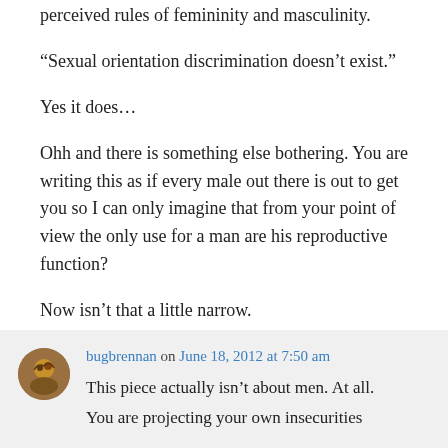perceived rules of femininity and masculinity.
"Sexual orientation discrimination doesn’t exist."
Yes it does…
Ohh and there is something else bothering. You are writing this as if every male out there is out to get you so I can only imagine that from your point of view the only use for a man are his reproductive function?
Now isn’t that a little narrow.
bugbrennan on June 18, 2012 at 7:50 am
This piece actually isn’t about men. At all. You are projecting your own insecurities